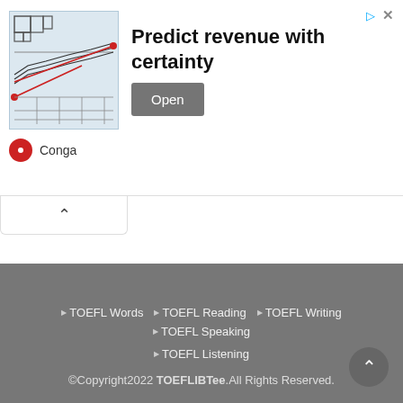[Figure (screenshot): Advertisement banner for Conga with a maze/diagram image on the left, bold text 'Predict revenue with certainty' and an Open button on the right. Top-right shows share and close icons. Bottom-left shows Conga logo with red circle and brand name.]
^
▶ TOEFL Words  ▶ TOEFL Reading  ▶ TOEFL Writing  ▶ TOEFL Speaking  ▶ TOEFL Listening  ©Copyright2022 TOEFLIBTee. All Rights Reserved.